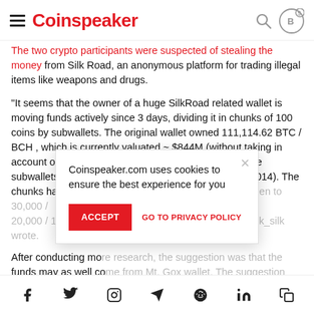Coinspeaker
from Silk Road, an anonymous platform for trading illegal items like weapons and drugs.
“It seems that the owner of a huge SilkRoad related wallet is moving funds actively since 3 days, dividing it in chunks of 100 coins by subwallets. The original wallet owned 111,114.62 BTC / BCH , which is currently valuated ~ $844M (without taking in account other #Bitcoin forks). Last movements on these subwallets are 4 years and 5 months old (March 9th, 2014). The chunks have been divided over time to 50,000 coins, then to 30,000 / 20,000 / 10,000 / 5,000 / 500 and now 100 coins.” u/sick_silk wrote.
After conducting more research, the funds may as well come from Mt. Gox wallet. The suggestion echoed views expressed by blockchain forensics company WizSec.
Coinspeaker.com uses cookies to ensure the best experience for you
ACCEPT
GO TO PRIVACY POLICY